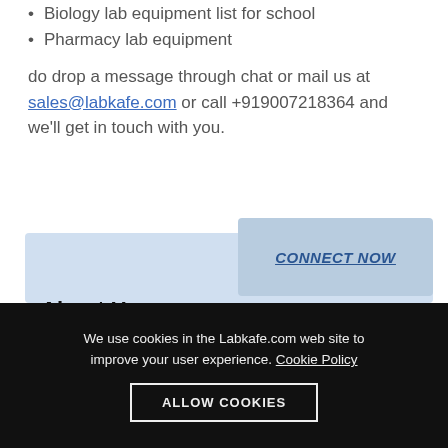Biology lab equipment list for school
Pharmacy lab equipment
do drop a message through chat or mail us at sales@labkafe.com or call +919007218364 and we'll get in touch with you.
About Us
CONNECT NOW
Labkafe is among the most promising laboratory supplies vendors in India. We manufacture and supply lab equipment, lab furniture, lab consumables, lab glassware, lab machines and more! Not only we manufacture lab items, we export to international resellers too. We fulfill CBSE ICSE ISC IGCSE IB
We use cookies in the Labkafe.com web site to improve your user experience. Cookie Policy
ALLOW COOKIES